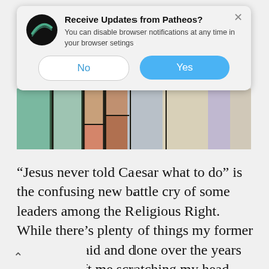[Figure (screenshot): Browser push notification dialog from Patheos website asking to receive updates. Contains Patheos logo (black circle with green arc), title 'Receive Updates from Patheos?', subtitle 'You can disable browser notifications at any time in your browser setings', a 'No' button and a 'Yes' button. An X close button appears in the top right.]
[Figure (photo): Partial view of a stained glass artwork showing colorful religious imagery with greens, browns, reds, and whites.]
“Jesus never told Caesar what to do” is the confusing new battle cry of some leaders among the Religious Right. While there’s plenty of things my former tribe have said and done over the years that have left me scratching my head, nothing is more confusing to